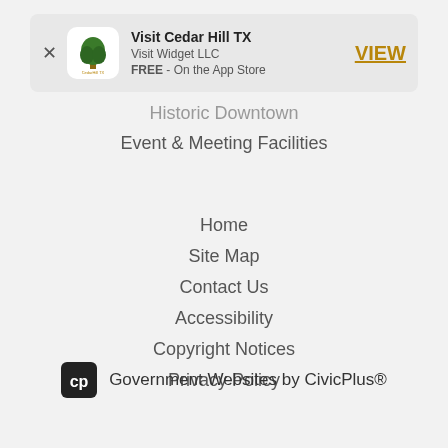[Figure (other): App store banner for Visit Cedar Hill TX app by Visit Widget LLC, FREE on the App Store, with a VIEW button]
Historic Downtown
Event & Meeting Facilities
Home
Site Map
Contact Us
Accessibility
Copyright Notices
Privacy Policy
Government Websites by CivicPlus®